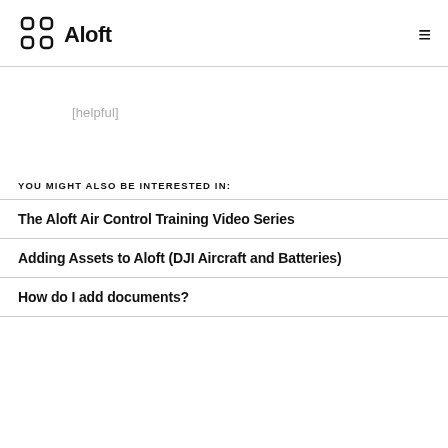Aloft
[helpful]
YOU MIGHT ALSO BE INTERESTED IN:
The Aloft Air Control Training Video Series
Adding Assets to Aloft (DJI Aircraft and Batteries)
How do I add documents?